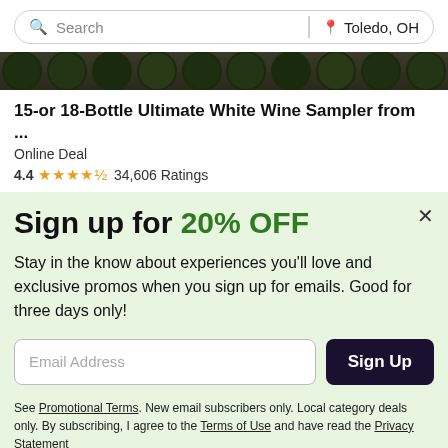Search | Toledo, OH
[Figure (photo): Dark green wine bottle tops cropped image strip]
15-or 18-Bottle Ultimate White Wine Sampler from ...
Online Deal
4.4 ★★★★½ 34,606 Ratings
Sign up for 20% OFF
Stay in the know about experiences you'll love and exclusive promos when you sign up for emails. Good for three days only!
Email Address [input field] Sign Up
See Promotional Terms. New email subscribers only. Local category deals only. By subscribing, I agree to the Terms of Use and have read the Privacy Statement